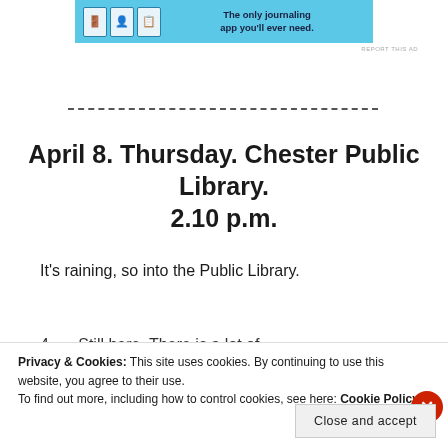[Figure (other): Advertisement banner for a journaling app with blue background, cartoon icons of a door/person/notebook, and text 'The only journaling app you'll ever need.']
REPORT THIS AD
April 8.  Thursday.  Chester Public Library.  2.10 p.m.
It's raining, so into the Public Library.
4…   Still here. There is a lot of…
Privacy & Cookies:  This site uses cookies. By continuing to use this website, you agree to their use.
To find out more, including how to control cookies, see here: Cookie Policy
Close and accept